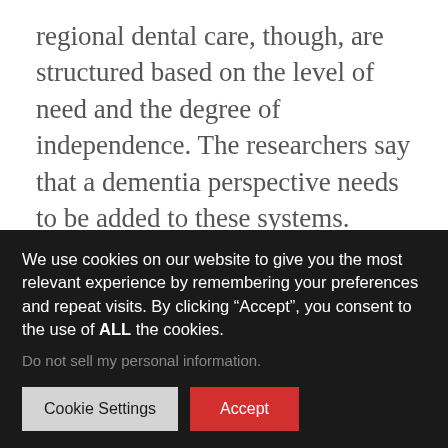regional dental care, though, are structured based on the level of need and the degree of independence. The researchers say that a dementia perspective needs to be added to these systems.
The study, “Factors Associated with Older Adults’ Need for Oral Hygiene Management by Dental Professionals,” appeared in Geriatrics & Gerontology International. Authors included Shiho Morishita,
We use cookies on our website to give you the most relevant experience by remembering your preferences and repeat visits. By clicking “Accept”, you consent to the use of ALL the cookies.
Do not sell my personal information.